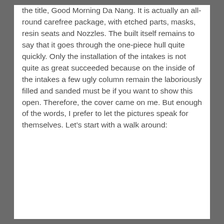the title, Good Morning Da Nang. It is actually an all-round carefree package, with etched parts, masks, resin seats and Nozzles. The built itself remains to say that it goes through the one-piece hull quite quickly. Only the installation of the intakes is not quite as great succeeded because on the inside of the intakes a few ugly column remain the laboriously filled and sanded must be if you want to show this open. Therefore, the cover came on me. But enough of the words, I prefer to let the pictures speak for themselves. Let’s start with a walk around: